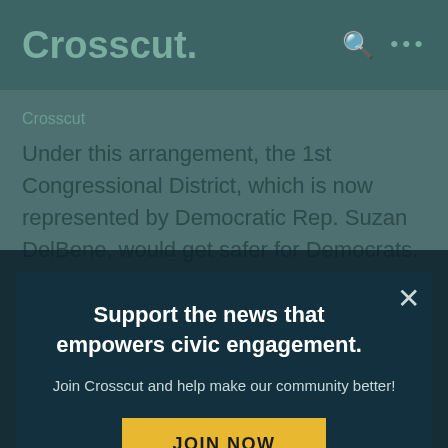Crosscut.
Under this arrangement, the 1st Congressional District, which is now represented by Democratic Rep. Suzan DelBene, would get safer for Democrats. The 10th Congressional District, which spans Pierce and Thurston counties, also would
Support the news that empowers civic engagement.

Join Crosscut and help make our community better!

JOIN NOW
GOP, Fain said. Right now, Rep. Marilyn